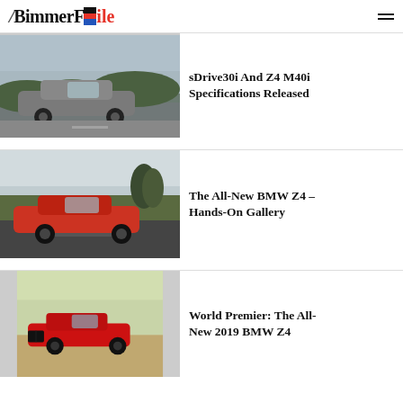BimmerFile
[Figure (photo): Gray BMW Z4 convertible on a road with scenic background]
sDrive30i And Z4 M40i Specifications Released
[Figure (photo): Red/orange BMW Z4 convertible driving on track at Pebble Beach]
The All-New BMW Z4 – Hands-On Gallery
[Figure (photo): Red BMW Z4 convertible at world premiere event]
World Premier: The All-New 2019 BMW Z4